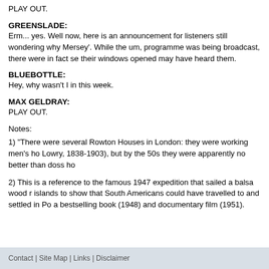PLAY OUT.
GREENSLADE:
Erm... yes. Well now, here is an announcement for listeners still wondering why Mersey'. While the um, programme was being broadcast, there were in fact se their windows opened may have heard them.
BLUEBOTTLE:
Hey, why wasn't I in this week.
MAX GELDRAY:
PLAY OUT.
Notes:
1) "There were several Rowton Houses in London: they were working men's ho Lowry, 1838-1903), but by the 50s they were apparently no better than doss ho
2) This is a reference to the famous 1947 expedition that sailed a balsa wood r islands to show that South Americans could have travelled to and settled in Po a bestselling book (1948) and documentary film (1951).
Contact | Site Map | Links | Disclaimer